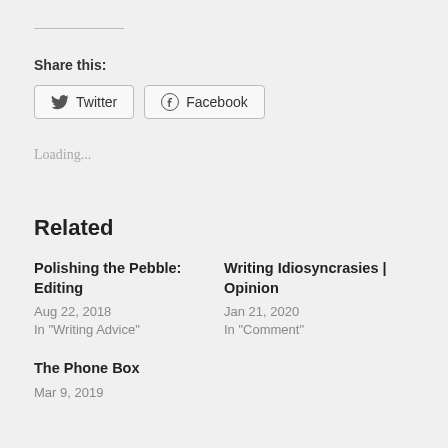Share this:
Twitter  Facebook
Loading...
Related
Polishing the Pebble: Editing
Aug 22, 2018
In "Writing Advice"
Writing Idiosyncrasies | Opinion
Jan 21, 2020
In "Comment"
The Phone Box
Mar 9, 2019